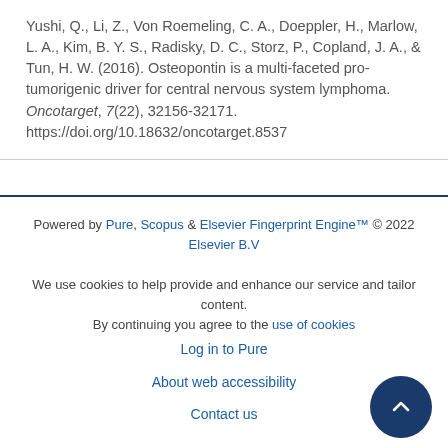Yushi, Q., Li, Z., Von Roemeling, C. A., Doeppler, H., Marlow, L. A., Kim, B. Y. S., Radisky, D. C., Storz, P., Copland, J. A., & Tun, H. W. (2016). Osteopontin is a multi-faceted pro-tumorigenic driver for central nervous system lymphoma. Oncotarget, 7(22), 32156-32171. https://doi.org/10.18632/oncotarget.8537
Powered by Pure, Scopus & Elsevier Fingerprint Engine™ © 2022 Elsevier B.V
We use cookies to help provide and enhance our service and tailor content. By continuing you agree to the use of cookies
Log in to Pure
About web accessibility
Contact us